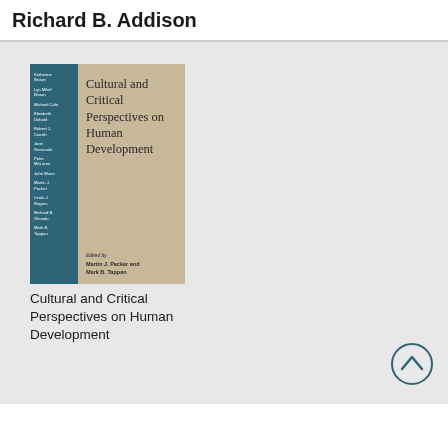Richard B. Addison
[Figure (photo): Book cover of 'Cultural and Critical Perspectives on Human Development', edited by Martin J. Packer and Mark B. Tappan. The cover shows a teal/dark teal spine listing contributor names and a beige main cover with the book title in serif font and editors' names at the bottom.]
Cultural and Critical Perspectives on Human Development